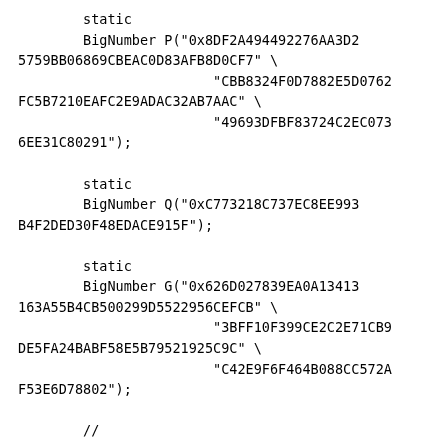static
        BigNumber P("0x8DF2A494492276AA3D25759BB06869CBEAC0D83AFB8D0CF7" \
                        "CBB8324F0D7882E5D0762FC5B7210EAFC2E9ADAC32AB7AAC" \
                        "49693DFBF83724C2EC0736EE31C80291");

        static
        BigNumber Q("0xC773218C737EC8EE993B4F2DED30F48EDACE915F");

        static
        BigNumber G("0x626D027839EA0A13413163A55B4CB5002990D5522956CEFCB" \
                        "3BFF10F399CE2C2E71CB9DE5FA24BABF58E5B79521925C9C" \
                        "C42E9F6F464B088CC572AF53E6D78802");

        //